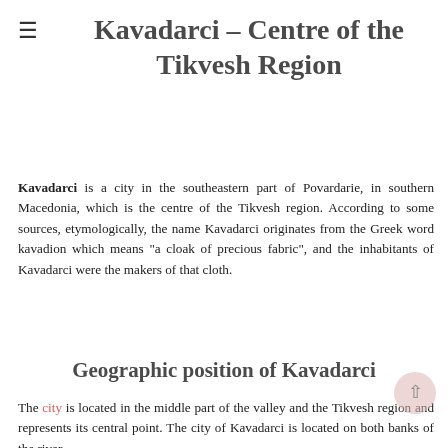≡
Kavadarci – Centre of the Tikvesh Region
Kavadarci is a city in the southeastern part of Povardarie, in southern Macedonia, which is the centre of the Tikvesh region. According to some sources, etymologically, the name Kavadarci originates from the Greek word kavadion which means "a cloak of precious fabric", and the inhabitants of Kavadarci were the makers of that cloth.
Geographic position of Kavadarci
The city is located in the middle part of the valley and the Tikvesh region and represents its central point. The city of Kavadarci is located on both banks of the river